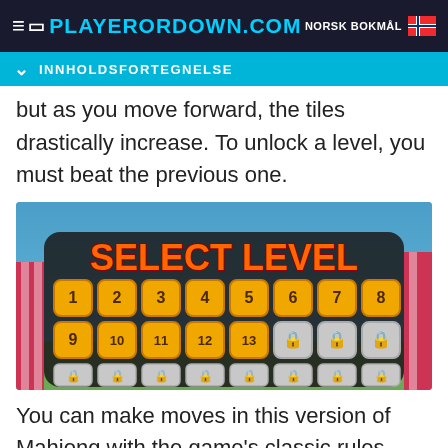PLAYERORDOWN.COM   NORSK BOKMÅL
INNHOLDSFORTEGNELSE
but as you move forward, the tiles drastically increase. To unlock a level, you must beat the previous one.
[Figure (screenshot): Game screenshot showing a 'SELECT LEVEL' screen with a grid of numbered golden tiles (1-13 unlocked, rest locked with padlock icons), set against a colorful background.]
You can make moves in this version of Mahjong with the game's classic rules – you must be able to